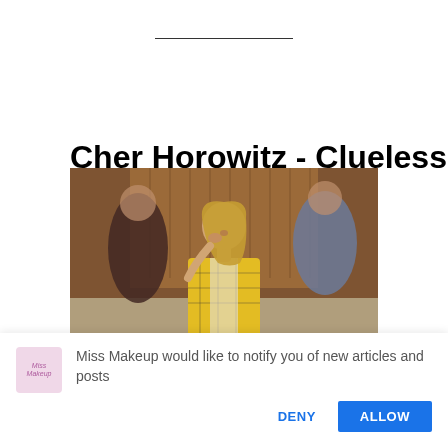Cher Horowitz – Clueless
[Figure (photo): Scene from the movie Clueless showing a teenage girl in a yellow plaid blazer holding her hand to her face, surrounded by other students in a school hallway with lockers in the background.]
Miss Makeup would like to notify you of new articles and posts
DENY
ALLOW